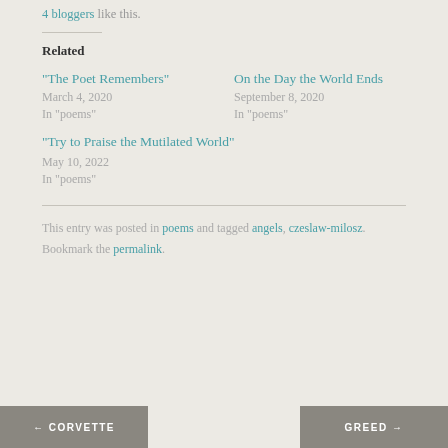4 bloggers like this.
Related
“The Poet Remembers”
March 4, 2020
In “poems”
On the Day the World Ends
September 8, 2020
In “poems”
“Try to Praise the Mutilated World”
May 10, 2022
In “poems”
This entry was posted in poems and tagged angels, czeslaw-milosz. Bookmark the permalink.
← CORVETTE    GREED →